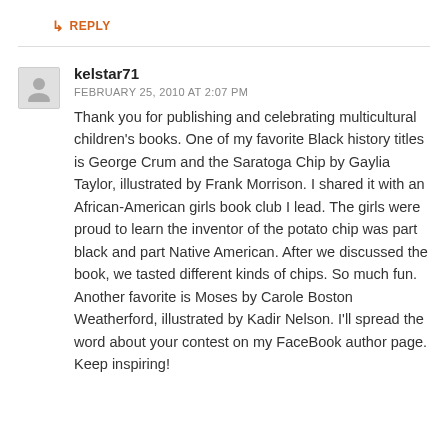↳ REPLY
kelstar71
FEBRUARY 25, 2010 AT 2:07 PM
Thank you for publishing and celebrating multicultural children's books. One of my favorite Black history titles is George Crum and the Saratoga Chip by Gaylia Taylor, illustrated by Frank Morrison. I shared it with an African-American girls book club I lead. The girls were proud to learn the inventor of the potato chip was part black and part Native American. After we discussed the book, we tasted different kinds of chips. So much fun. Another favorite is Moses by Carole Boston Weatherford, illustrated by Kadir Nelson. I'll spread the word about your contest on my FaceBook author page. Keep inspiring!